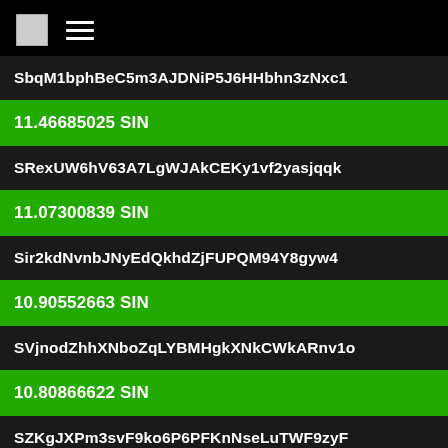SbqM1bphBeC5m3AJDNiP5J6HHbhn3zNxc1
11.46685025 SIN
SRexUW6hV63A7LgWJAkCEKy1vf2yasjqqk
11.07300839 SIN
Sir2kdNvnbJNyEdQkhdZjFUPQM94Y8gyw4
10.90552663 SIN
SVjnodZhhXNboZqLYBMHgkXNkCWkARnv1o
10.80866622 SIN
SZKgJXPm3svF9ko6P6PFKnNseLuTWF9zyF
10.79349764 SIN